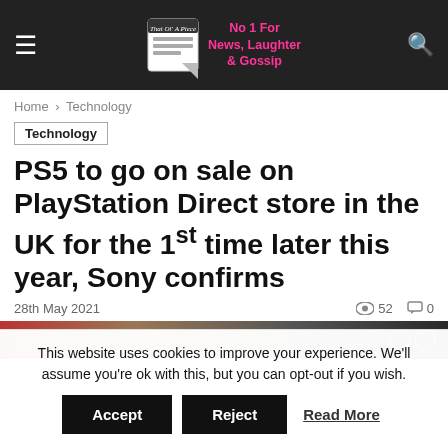No 1 For News, Laughter & Gossip
Home › Technology
Technology
PS5 to go on sale on PlayStation Direct store in the UK for the 1st time later this year, Sony confirms
28th May 2021  👁 52  💬 0
[Figure (photo): Partial image strip showing a blurred photo, appears to be PS5 related]
This website uses cookies to improve your experience. We'll assume you're ok with this, but you can opt-out if you wish.
Accept  Reject  Read More